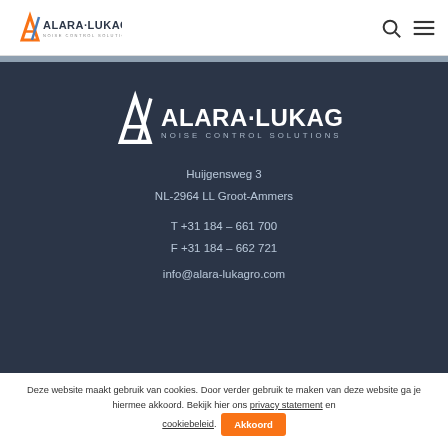Alara-Lukagro Noise Control Solutions - header with logo, search icon, and menu icon
[Figure (logo): Alara-Lukagro Noise Control Solutions logo - white version on dark background]
Huijgensweg 3
NL-2964 LL Groot-Ammers
T +31 184 - 661 700
F +31 184 - 662 721
info@alara-lukagro.com
Deze website maakt gebruik van cookies. Door verder gebruik te maken van deze website ga je hiermee akkoord. Bekijk hier ons privacy statement en cookiebeleid. Akkoord